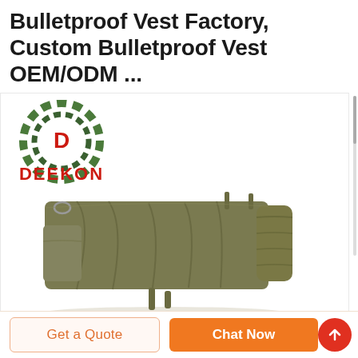Bulletproof Vest Factory, Custom Bulletproof Vest OEM/ODM ...
[Figure (photo): Deekon brand logo (camouflage target circle with red D) and red DEEKON text above an olive green military bulletproof vest/blanket folded flat, shown on white background]
[Figure (other): Bottom navigation bar with 'Get a Quote' button (light orange border) and 'Chat Now' button (solid orange), plus a red circular up-arrow FAB button]